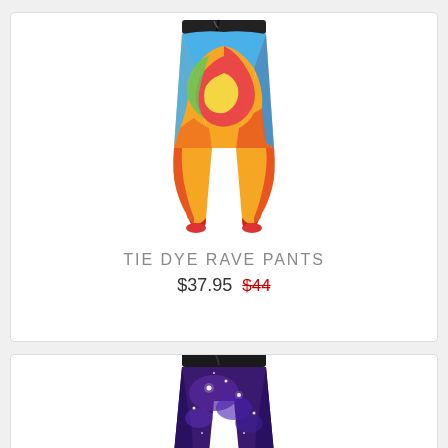[Figure (illustration): Tie dye rave pants with colorful spiral rainbow pattern, jogger style with cuffed ankles]
TIE DYE RAVE PANTS
$37.95  $44 (strikethrough)
[Figure (illustration): Galaxy print purple jogger pants with black waistband and drawstring]